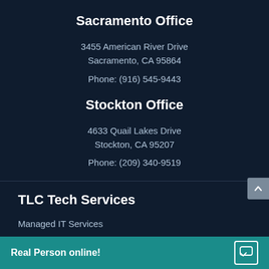Sacramento Office
3455 American River Drive
Sacramento, CA 95864
Phone: (916) 545-9443
Stockton Office
4633 Quail Lakes Drive
Stockton, CA 95207
Phone: (209) 340-9519
TLC Tech Services
Managed IT Services
Cybersecurity Solutions
Microsoft...
Real Person online!